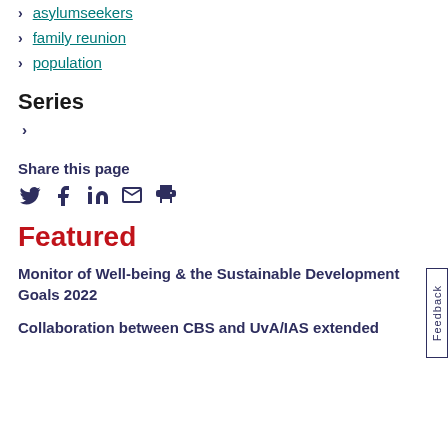> asylumseekers
> family reunion
> population
Series
>
Share this page
[Twitter] [Facebook] [LinkedIn] [Email] [Print]
Featured
Monitor of Well-being & the Sustainable Development Goals 2022
Collaboration between CBS and UvA/IAS extended